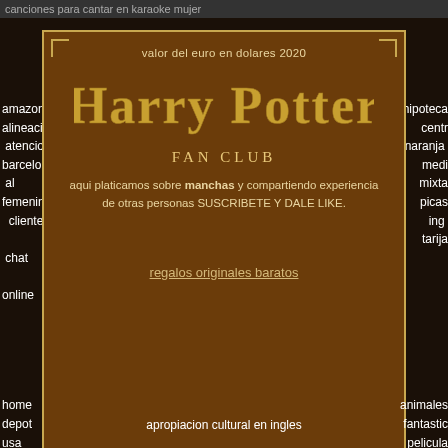canciones para cantar en karaoke mujer
[Figure (infographic): Harry Potter Fan Club promotional card with dark brown background and golden border. Contains title 'valor del euro en dolares 2020', Harry Potter logo text, 'FAN CLUB' subtitle, body text about manchas, and a link 'regalos originales baratos'.]
valor del euro en dolares 2020
Harry Potter
FAN CLUB
aqui platicamos sobre manchas y compartiendo experiencia de otras personas SUSCRIBETE Y DALE LIKE.
regalos originales baratos
amazon
alineacion
atencion
barcelona
al
femenino
cliente
chat
online
hipoteca
cent
naranja
medi
mixta
picas
ing
tarija
home
depot
usa
horario
apropiacion cultural en ingles
animales
fantastic
pelicula
netflix